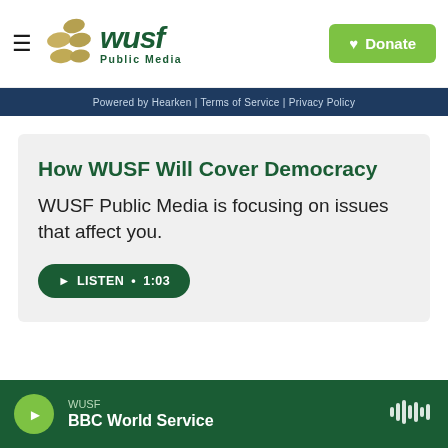[Figure (logo): WUSF Public Media logo with golden oval dots and green bold italic text]
Donate
Powered by Hearken | Terms of Service | Privacy Policy
How WUSF Will Cover Democracy
WUSF Public Media is focusing on issues that affect you.
► LISTEN • 1:03
WUSF
BBC World Service